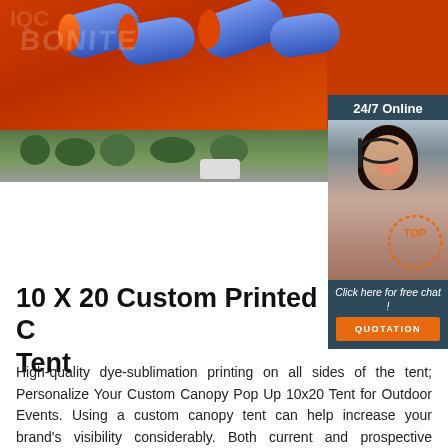[Figure (photo): Top half of page showing orange and blue inflatable obstacle cylinders on a red mat surface, with a watermark overlay. Below is a smaller strip showing an outdoor canopy tent scene with trees and a car in the background. On the right side is a '24/7 Online' live chat widget with a photo of a smiling woman wearing a headset, a 'Click here for free chat!' message, and an orange 'QUOTATION' button.]
10 X 20 Custom Printed Canopy Tent
High-quality dye-sublimation printing on all sides of the tent; Personalize Your Custom Canopy Pop Up 10x20 Tent for Outdoor Events. Using a custom canopy tent can help increase your brand's visibility considerably. Both current and prospective customers need to be able to recognize